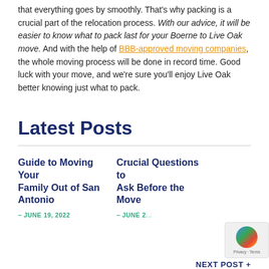that everything goes by smoothly. That's why packing is a crucial part of the relocation process. With our advice, it will be easier to know what to pack last for your Boerne to Live Oak move. And with the help of BBB-approved moving companies, the whole moving process will be done in record time. Good luck with your move, and we're sure you'll enjoy Live Oak better knowing just what to pack.
Latest Posts
Guide to Moving Your Family Out of San Antonio
– JUNE 19, 2022
Crucial Questions to Ask Before the Move
– JUNE 2...
NEXT POST +